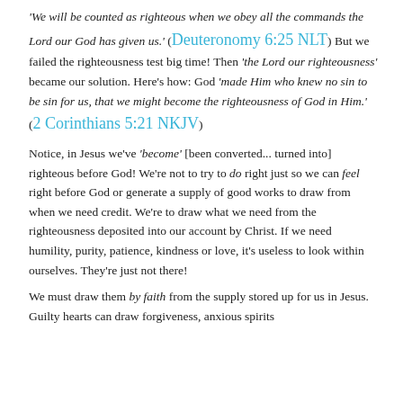'We will be counted as righteous when we obey all the commands the Lord our God has given us.' (Deuteronomy 6:25 NLT) But we failed the righteousness test big time! Then 'the Lord our righteousness' became our solution. Here's how: God 'made Him who knew no sin to be sin for us, that we might become the righteousness of God in Him.' (2 Corinthians 5:21 NKJV)
Notice, in Jesus we've 'become' [been converted… turned into] righteous before God! We're not to try to do right just so we can feel right before God or generate a supply of good works to draw from when we need credit. We're to draw what we need from the righteousness deposited into our account by Christ. If we need humility, purity, patience, kindness or love, it's useless to look within ourselves. They're just not there!
We must draw them by faith from the supply stored up for us in Jesus. Guilty hearts can draw forgiveness, anxious spirits